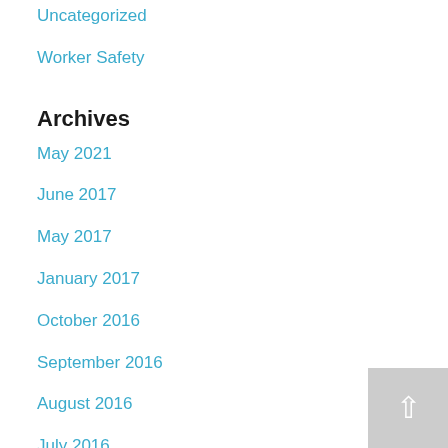Uncategorized
Worker Safety
Archives
May 2021
June 2017
May 2017
January 2017
October 2016
September 2016
August 2016
July 2016
June 2016
May 2016
April 2016
March 2016